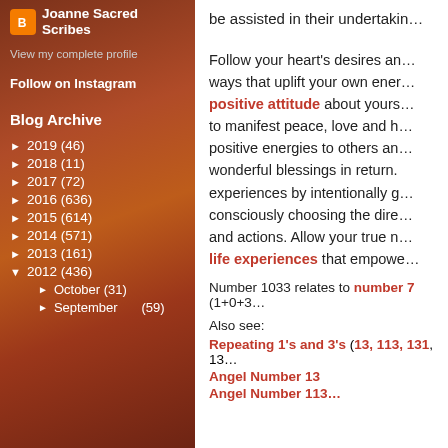Joanne Sacred Scribes
View my complete profile
Follow on Instagram
Blog Archive
► 2019 (46)
► 2018 (11)
► 2017 (72)
► 2016 (636)
► 2015 (614)
► 2014 (571)
► 2013 (161)
▼ 2012 (436)
► October (31)
► September (59)
be assisted in their undertakin…
Follow your heart's desires and ways that uplift your own energies… positive attitude about yourself… to manifest peace, love and happiness… positive energies to others and wonderful blessings in return. experiences by intentionally g… consciously choosing the direction… and actions. Allow your true nature… life experiences that empower…
Number 1033 relates to number 7 (1+0+3…
Also see:
Repeating 1's and 3's  (13, 113, 131, 13…
Angel Number 13
Angel Number 113…